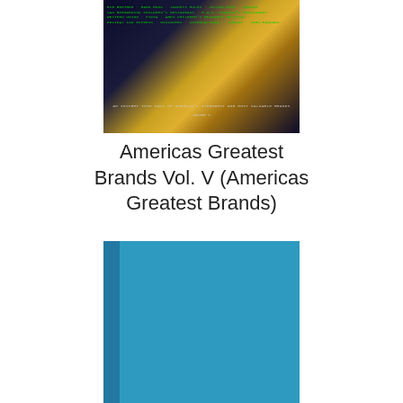[Figure (photo): Book cover of 'Americas Greatest Brands Vol. V' showing a dark background with golden light streaks and green text listing brand names across the top portion.]
Americas Greatest Brands Vol. V (Americas Greatest Brands)
[Figure (photo): Book cover shown from an angle displaying a solid blue/teal cover with a darker spine on the left side.]